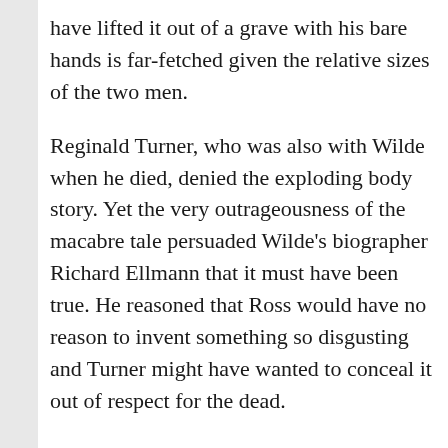have lifted it out of a grave with his bare hands is far-fetched given the relative sizes of the two men.
Reginald Turner, who was also with Wilde when he died, denied the exploding body story. Yet the very outrageousness of the macabre tale persuaded Wilde's biographer Richard Ellmann that it must have been true. He reasoned that Ross would have no reason to invent something so disgusting and Turner might have wanted to conceal it out of respect for the dead.
Indeed, why would Ross tell a tale that is so unflattering to Wilde? To answer